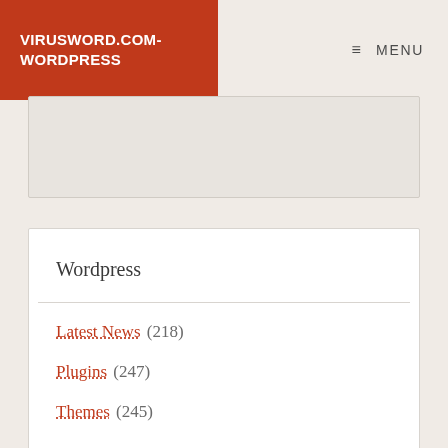VIRUSWORD.COM-WORDPRESS
MENU
Wordpress
Latest News (218)
Plugins (247)
Themes (245)